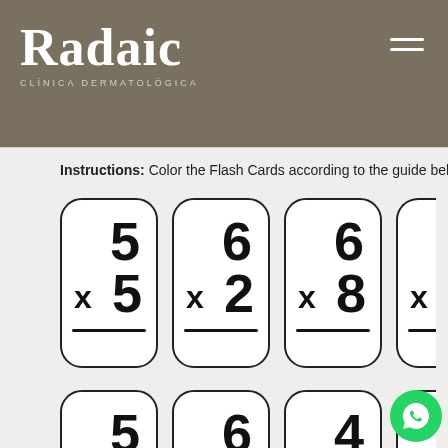[Figure (logo): Radaic Clinica Dermatologica logo in white text on olive/taupe background with hamburger menu icon]
Instructions: Color the Flash Cards according to the guide below
[Figure (illustration): Math multiplication flash cards arranged in a 4-column grid. Row 1: 5×5, 6×2, 6×8, and a partially visible card. Row 2: 5×8, 6×4, 4×7, and a partially visible card. Each card is white with rounded corners showing a top number, multiplication sign and bottom number with a line below.]